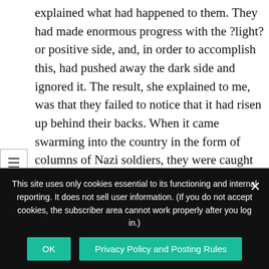explained what had happened to them. They had made enormous progress with the ?light? or positive side, and, in order to accomplish this, had pushed away the dark side and ignored it. The result, she explained to me, was that they failed to notice that it had risen up behind their backs. When it came swarming into the country in the form of columns of Nazi soldiers, they were caught entirely unawares. Of course, their work in no way created the attack. But by ignoring the dark side, they ended up being surprised by something that esotericists, with their understanding of the power of black magic, should have been aware of. (And black magic isn?t some sort of secretive mumbo-jumbo. You
This site uses only cookies essential to its functioning and internal reporting. It does not sell user information. (If you do not accept cookies, the subscriber area cannot work properly after you log in.)